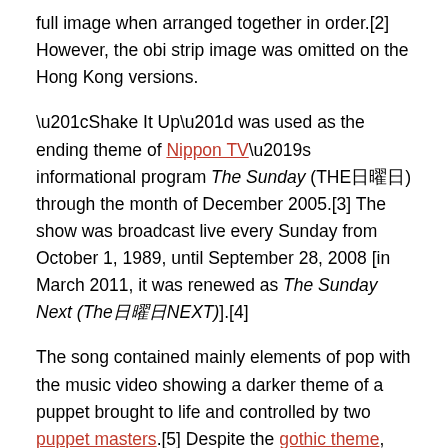full image when arranged together in order.[2] However, the obi strip image was omitted on the Hong Kong versions.
“Shake It Up” was used as the ending theme of Nippon TV’s informational program The Sunday (THE日曜日) through the month of December 2005.[3] The show was broadcast live every Sunday from October 1, 1989, until September 28, 2008 [in March 2011, it was renewed as The Sunday Next (The日曜日NEXT)].[4]
The song contained mainly elements of pop with the music video showing a darker theme of a puppet brought to life and controlled by two puppet masters.[5] Despite the gothic theme, the song itself was about losing yourself to music.[6] “Shake It Up” was composed by musical composer and lyricist Kim Hiroshi.[7] Hiroshi had